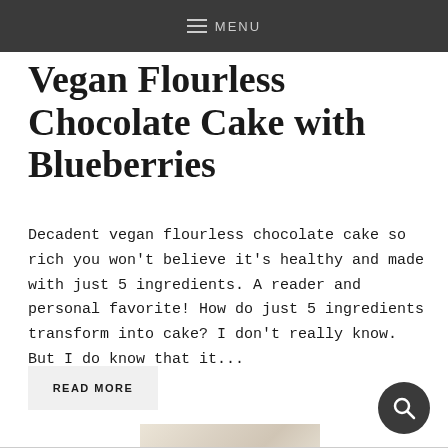MENU
Vegan Flourless Chocolate Cake with Blueberries
Decadent vegan flourless chocolate cake so rich you won't believe it's healthy and made with just 5 ingredients. A reader and personal favorite! How do just 5 ingredients transform into cake? I don't really know. But I do know that it...
READ MORE
[Figure (photo): Partial view of a food photo, likely showing the cake]